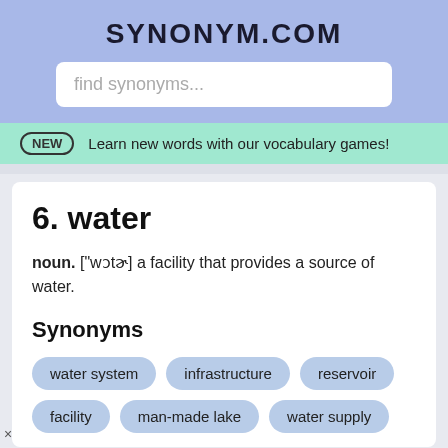SYNONYM.COM
find synonyms...
NEW  Learn new words with our vocabulary games!
6. water
noun. ["wɔtɚ] a facility that provides a source of water.
Synonyms
water system
infrastructure
reservoir
facility
man-made lake
water supply